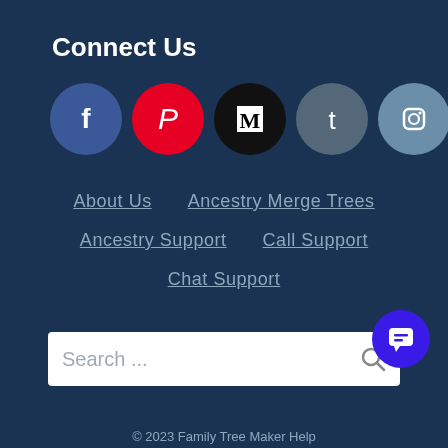Connect Us
[Figure (infographic): Row of social media icon circles: Facebook, Pinterest, Medium, Tumblr, Instagram, Twitter, Reddit]
About Us
Ancestry Merge Trees
Ancestry Support
Call Support
Chat Support
Search ...
[Figure (illustration): Blue chat bubble button in bottom right corner]
© 2023 Family Tree Maker Help